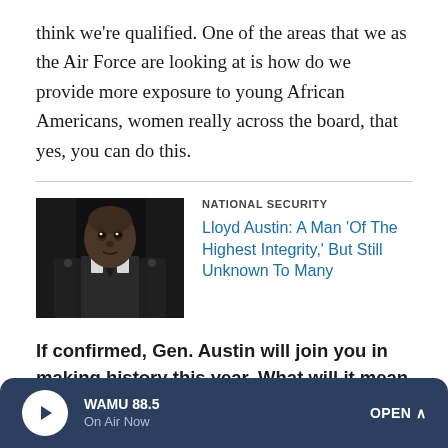think we're qualified. One of the areas that we as the Air Force are looking at is how do we provide more exposure to young African Americans, women really across the board, that yes, you can do this.
[Figure (photo): Black and white photo of a man in military uniform, likely a senior officer, against a dark background]
NATIONAL SECURITY
Lloyd Austin: A Man 'Of The Highest Integrity,' But Still Unknown To Many
If confirmed, Gen. Austin will join you in making history this year. What will it mean to you and your servicemen to see him sworn into that job?
I think for anyone of a diverse background, when you see
WAMU 88.5 On Air Now OPEN ^